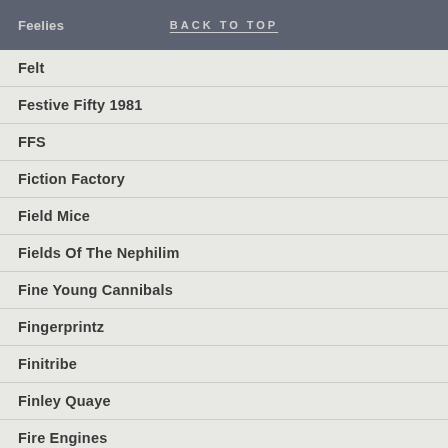Feelies | BACK TO TOP
Felt
Festive Fifty 1981
FFS
Fiction Factory
Field Mice
Fields Of The Nephilim
Fine Young Cannibals
Fingerprintz
Finitribe
Finley Quaye
Fire Engines
Fizzbombs